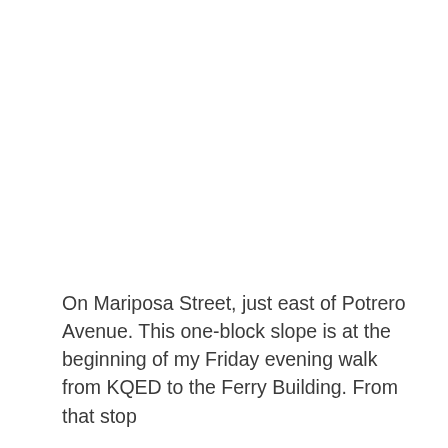On Mariposa Street, just east of Potrero Avenue. This one-block slope is at the beginning of my Friday evening walk from KQED to the Ferry Building. From that stop